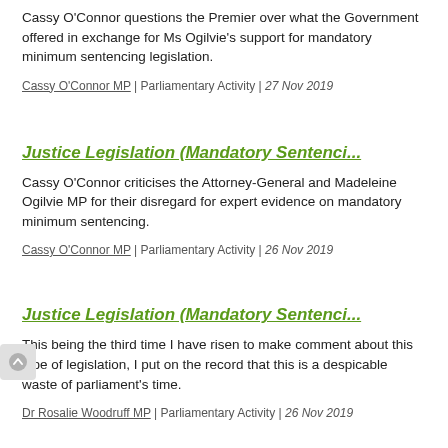Cassy O'Connor questions the Premier over what the Government offered in exchange for Ms Ogilvie's support for mandatory minimum sentencing legislation.
Cassy O'Connor MP | Parliamentary Activity | 27 Nov 2019
Justice Legislation (Mandatory Sentenci...
Cassy O'Connor criticises the Attorney-General and Madeleine Ogilvie MP for their disregard for expert evidence on mandatory minimum sentencing.
Cassy O'Connor MP | Parliamentary Activity | 26 Nov 2019
Justice Legislation (Mandatory Sentenci...
This being the third time I have risen to make comment about this type of legislation, I put on the record that this is a despicable waste of parliament's time.
Dr Rosalie Woodruff MP | Parliamentary Activity | 26 Nov 2019